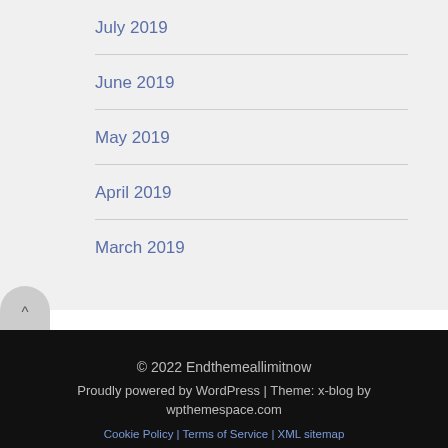July 2019
June 2019
May 2019
April 2019
March 2019
© 2022 Endthemeallimitnow
Proudly powered by WordPress | Theme: x-blog by wpthemespace.com
Cookie Policy | Terms of Service | XML sitemap